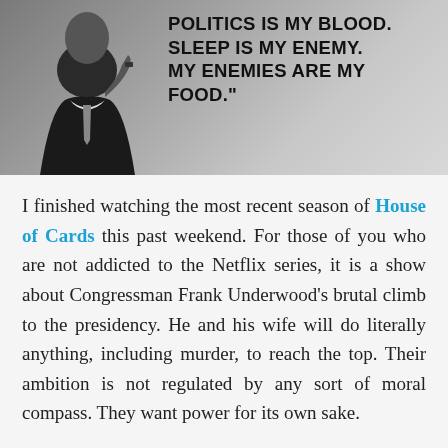[Figure (photo): Black and white photo of a man in a suit and tie, hand raised to chin, with overlaid bold quote text: 'POLITICS IS MY BLOOD. SLEEP IS MY ENEMY. MY ENEMIES ARE MY FOOD.']
I finished watching the most recent season of House of Cards this past weekend. For those of you who are not addicted to the Netflix series, it is a show about Congressman Frank Underwood's brutal climb to the presidency. He and his wife will do literally anything, including murder, to reach the top. Their ambition is not regulated by any sort of moral compass. They want power for its own sake.